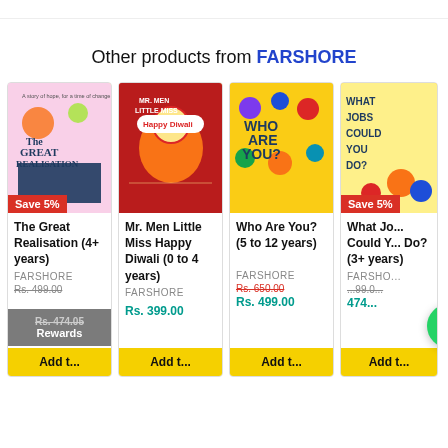Other products from FARSHORE
[Figure (screenshot): Product card: The Great Realisation (4+ years) by FARSHORE. Book cover shown. Save 5% badge. Price Rs. 499.00, Sale Rs. 474.05. Rewards button overlay. Add to cart button.]
[Figure (screenshot): Product card: Mr. Men Little Miss Happy Diwali (0 to 4 years) by FARSHORE. Colorful book cover. Price Rs. 399.00. Add to cart button.]
[Figure (screenshot): Product card: Who Are You? (5 to 12 years) by FARSHORE. Yellow book cover. Original price Rs. 650.00. Sale price Rs. 499.00. Add to cart button.]
[Figure (screenshot): Product card (partially visible): What Jobs Could You Do? (3+ years) by FARSHORE. Save 5% badge. Prices partially visible. Add to cart button. WhatsApp chat bubble.]